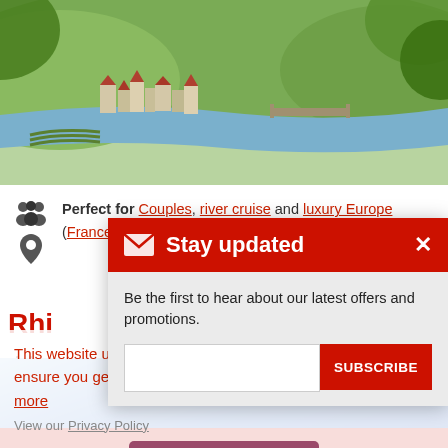[Figure (photo): Aerial view of a French riverside town with green vineyards, a river and bridge, and lush trees in the foreground]
Perfect for Couples, river cruise and luxury Europe (France)
Rhi...
Bade...
Stay updated
Be the first to hear about our latest offers and promotions.
SUBSCRIBE
This website uses cookies and Google Analytics tracking to ensure you get the best experience on our website. Learn more
View our Privacy Policy
Got it!